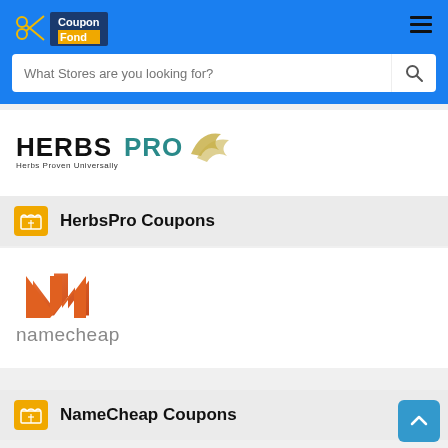[Figure (screenshot): CouponFond website header with logo showing scissors icon and 'Coupon Fond' text, hamburger menu icon, and a search bar reading 'What Stores are you looking for?']
[Figure (logo): HerbsPro logo with 'HERBSPRO' text in black/teal and wing graphic, subtitle 'Herbs Proven Universally']
HerbsPro Coupons
[Figure (logo): Namecheap logo with stylized orange N mark and 'namecheap' text in grey]
NameCheap Coupons